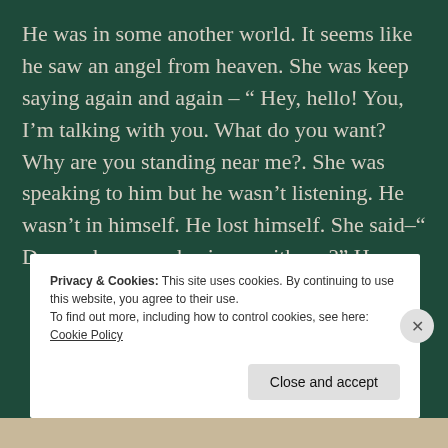He was in some another world. It seems like he saw an angel from heaven. She was keep saying again and again – “ Hey, hello! You, I’m talking with you. What do you want? Why are you standing near me?. She was speaking to him but he wasn’t listening. He wasn’t in himself. He lost himself. She said–“ Do you have any business with me?” He was
Privacy & Cookies: This site uses cookies. By continuing to use this website, you agree to their use.
To find out more, including how to control cookies, see here: Cookie Policy